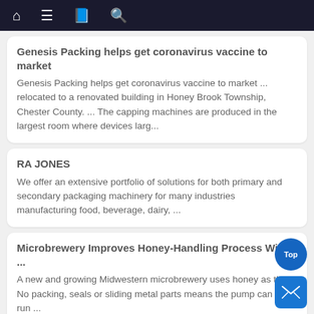Navigation bar with home, menu, bookmarks, search icons
Genesis Packing helps get coronavirus vaccine to market
Genesis Packing helps get coronavirus vaccine to market ... relocated to a renovated building in Honey Brook Township, Chester County. ... The capping machines are produced in the largest room where devices larg...
RA JONES
We offer an extensive portfolio of solutions for both primary and secondary packaging machinery for many industries manufacturing food, beverage, dairy, ...
Microbrewery Improves Honey-Handling Process With ...
A new and growing Midwestern microbrewery uses honey as the ... No packing, seals or sliding metal parts means the pump can dry run ...
9 "Healthy" Store-Bought Snacks Causing Weight Gain | Eat ...
Lightened ice cream that is packing just 400 calories a pint sounds great, but ... "The Nature Valley Oats and Honey Bar is a classic granola bar that most of ... The Naked Green Machine has 53 grams of sugar," says...